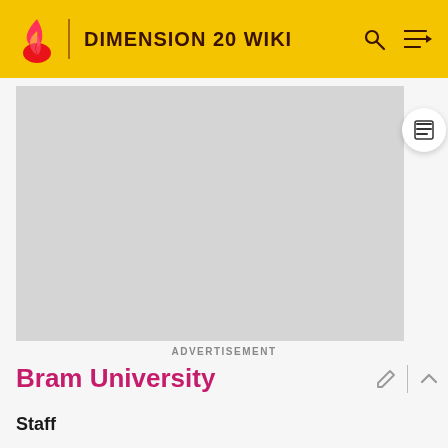DIMENSION 20 WIKI
[Figure (screenshot): Advertisement placeholder — grey rectangle]
ADVERTISEMENT
Bram University
Staff
[Figure (photo): Staff table row with character portrait thumbnails]